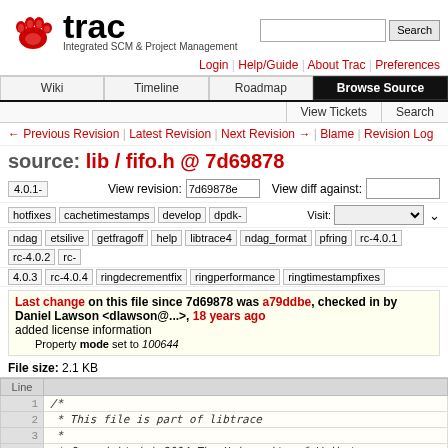[Figure (logo): Trac logo with red paw print and text 'trac - Integrated SCM & Project Management']
Login | Help/Guide | About Trac | Preferences
| Wiki | Timeline | Roadmap | Browse Source |
| --- | --- | --- | --- |
| View Tickets | Search |  |  |
← Previous Revision | Latest Revision | Next Revision → | Blame | Revision Log
source: lib / fifo.h @ 7d69878
4.0.1-   View revision: 7d69878e   View diff against:
hotfixes  cachetimestamps  develop  dpdk-   Visit:
ndag  etsilive  getfragoff  help  libtrace4  ndag_format  pfring  rc-4.0.1  rc-4.0.2  rc-4.0.3  rc-4.0.4  ringdecrementfix  ringperformance  ringtimestampfixes
Last change on this file since 7d69878 was a79ddbe, checked in by Daniel Lawson <dlawson@...>, 18 years ago
added license information
Property mode set to 100644
File size: 2.1 KB
| Line |  |
| --- | --- |
| 1 | /* |
| 2 |  * This file is part of libtrace |
| 3 |  * |
| 4 |  * Copyright (c) 2004 The University of Waikato, Hamilton, New Zealand. |
| 5 |  * Authors: Daniel Lawson |